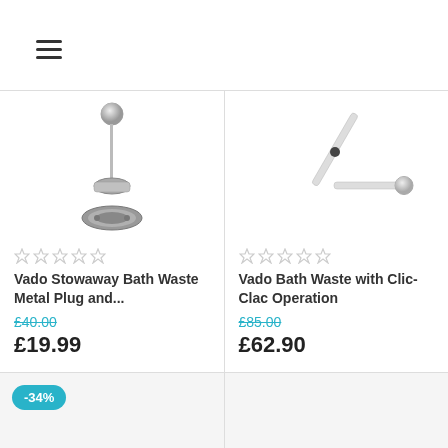Navigation header with hamburger menu
[Figure (photo): Vado Stowaway Bath Waste Metal Plug – chrome plug and chain mechanism on white background]
Vado Stowaway Bath Waste Metal Plug and...
£40.00
£19.99
[Figure (photo): Vado Bath Waste with Clic-Clac Operation – white L-shaped pipe with round plug on white background]
Vado Bath Waste with Clic-Clac Operation
£85.00
£62.90
-34%